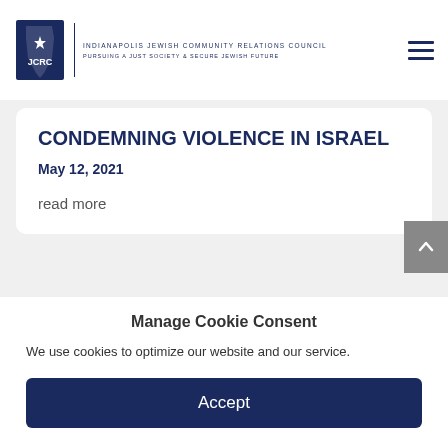[Figure (logo): Indianapolis Jewish Community Relations Council logo with JCRC text and Indiana state shape]
Indianapolis Jewish Community Relations Council – Pursuing a Just Society & Secure Jewish Future
CONDEMNING VIOLENCE IN ISRAEL
May 12, 2021
read more
Emergency Briefing:
Manage Cookie Consent
We use cookies to optimize our website and our service.
Accept